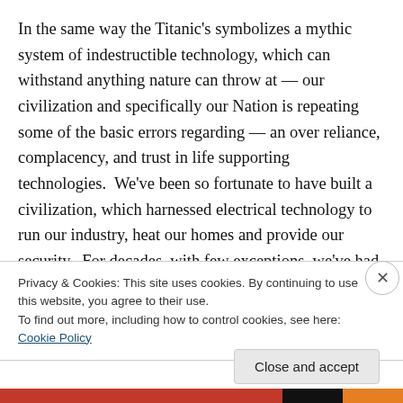In the same way the Titanic's symbolizes a mythic system of indestructible technology, which can withstand anything nature can throw at — our civilization and specifically our Nation is repeating some of the basic errors regarding — an over reliance, complacency, and trust in life supporting technologies.  We've been so fortunate to have built a civilization, which harnessed electrical technology to run our industry, heat our homes and provide our security.  For decades, with few exceptions, we've had uninterrupted, reliable electric power that is now, taken for
Privacy & Cookies: This site uses cookies. By continuing to use this website, you agree to their use.
To find out more, including how to control cookies, see here: Cookie Policy
Close and accept